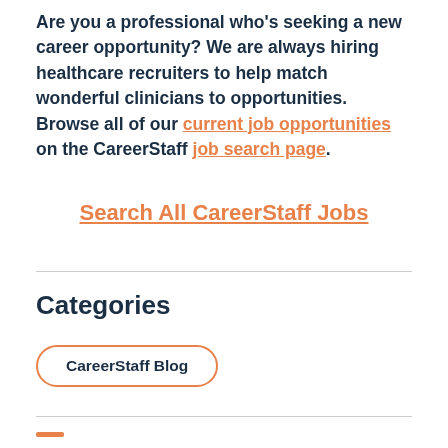Are you a professional who's seeking a new career opportunity? We are always hiring healthcare recruiters to help match wonderful clinicians to opportunities. Browse all of our current job opportunities on the CareerStaff job search page.
Search All CareerStaff Jobs
Categories
CareerStaff Blog